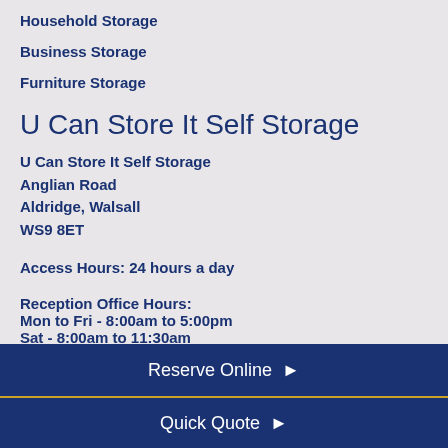Household Storage
Business Storage
Furniture Storage
U Can Store It Self Storage
U Can Store It Self Storage
Anglian Road
Aldridge, Walsall
WS9 8ET
Access Hours: 24 hours a day
Reception Office Hours:
Mon to Fri - 8:00am to 5:00pm
Sat - 8:00am to 11:30am
Closed Sundays and Bank Holidays
Reserve Online ▶
Quick Quote ▶